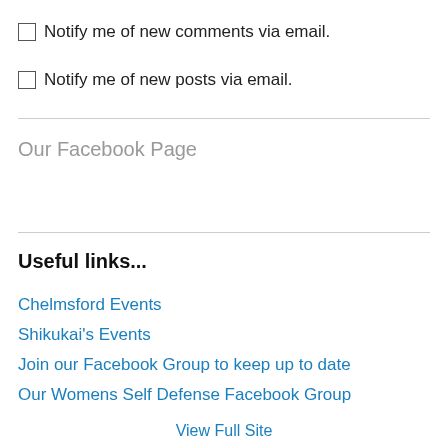Notify me of new comments via email.
Notify me of new posts via email.
Our Facebook Page
Useful links...
Chelmsford Events
Shikukai's Events
Join our Facebook Group to keep up to date
Our Womens Self Defense Facebook Group
View Full Site